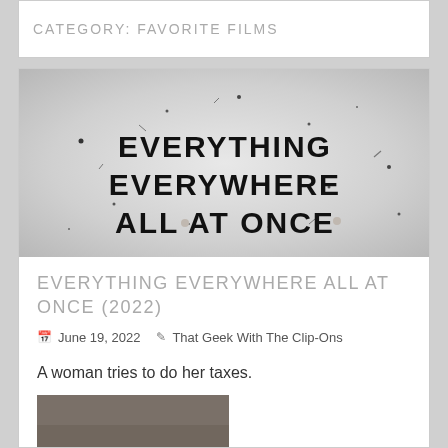CATEGORY: FAVORITE FILMS
[Figure (photo): Movie title card for 'Everything Everywhere All at Once' — bold black text on a light grey/silver background with scattered small debris/dots]
EVERYTHING EVERYWHERE ALL AT ONCE (2022)
June 19, 2022   That Geek With The Clip-Ons
A woman tries to do her taxes.
[Figure (photo): Partially visible thumbnail image at the bottom of the page, dark grey/brown tones, cropped]